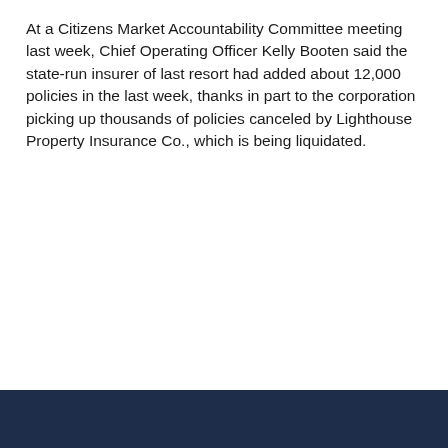At a Citizens Market Accountability Committee meeting last week, Chief Operating Officer Kelly Booten said the state-run insurer of last resort had added about 12,000 policies in the last week, thanks in part to the corporation picking up thousands of policies canceled by Lighthouse Property Insurance Co., which is being liquidated.